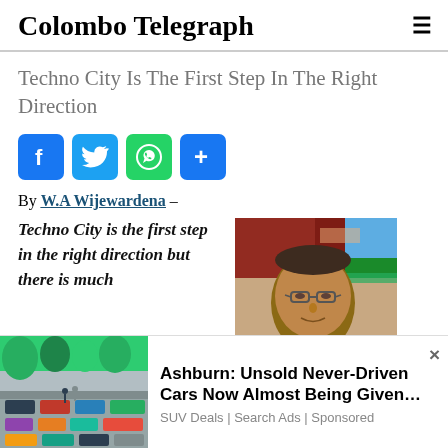Colombo Telegraph
Techno City Is The First Step In The Right Direction
[Figure (other): Social media share buttons: Facebook, Twitter, WhatsApp, Share]
By W.A Wijewardena –
Techno City is the first step in the right direction but there is much
[Figure (photo): Headshot photo of W.A Wijewardena, an elderly man wearing glasses]
[Figure (photo): Advertisement image showing a parking lot with cars]
Ashburn: Unsold Never-Driven Cars Now Almost Being Given…
SUV Deals | Search Ads | Sponsored